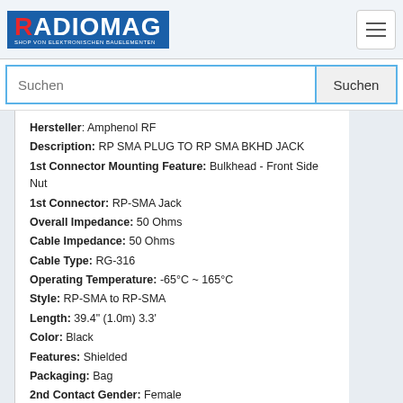RADIOMAG - SHOP VON ELEKTRONISCHEN BAUELEMENTEN
Hersteller: Amphenol RF
Description: RP SMA PLUG TO RP SMA BKHD JACK
1st Connector Mounting Feature: Bulkhead - Front Side Nut
1st Connector: RP-SMA Jack
Overall Impedance: 50 Ohms
Cable Impedance: 50 Ohms
Cable Type: RG-316
Operating Temperature: -65°C ~ 165°C
Style: RP-SMA to RP-SMA
Length: 39.4" (1.0m) 3.3'
Color: Black
Features: Shielded
Packaging: Bag
2nd Contact Gender: Female
1st Contact Gender: Male
2nd Connector Mounting Type: Free Hanging (In-Line)
1st Connector Mounting Type: Panel Mount
Frequency - Max: 6 GHz